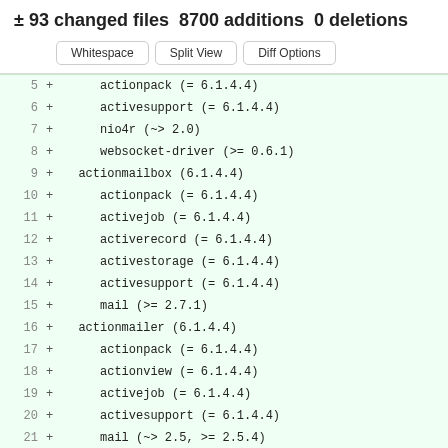± 93 changed files 8700 additions 0 deletions
[Figure (screenshot): Diff view toolbar with buttons: Whitespace, Split View, Diff Options]
5  +      actionpack (= 6.1.4.4)
6  +      activesupport (= 6.1.4.4)
7  +      nio4r (~> 2.0)
8  +      websocket-driver (>= 0.6.1)
9  +   actionmailbox (6.1.4.4)
10 +      actionpack (= 6.1.4.4)
11 +      activejob (= 6.1.4.4)
12 +      activerecord (= 6.1.4.4)
13 +      activestorage (= 6.1.4.4)
14 +      activesupport (= 6.1.4.4)
15 +      mail (>= 2.7.1)
16 +   actionmailer (6.1.4.4)
17 +      actionpack (= 6.1.4.4)
18 +      actionview (= 6.1.4.4)
19 +      activejob (= 6.1.4.4)
20 +      activesupport (= 6.1.4.4)
21 +      mail (~> 2.5, >= 2.5.4)
22 +      rails-dom-testing (~> 2.0)